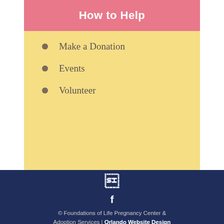How to Help
Make a Donation
Events
Volunteer
© Foundations of Life Pregnancy Center & Adoption Services | Orlando Website Design